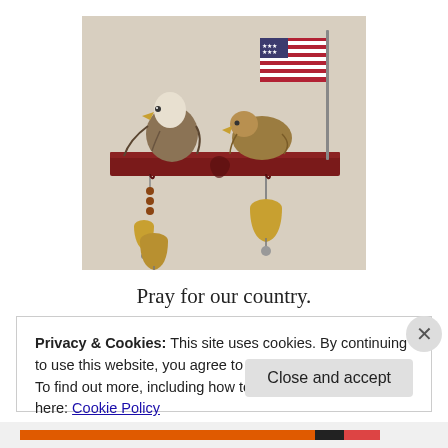[Figure (photo): A decorative wall shelf in dark red/maroon color with a heart cut-out, holding two eagle figurines and an American flag. Hanging from the shelf are beaded chains with small brass bells.]
Pray for our country.
Privacy & Cookies: This site uses cookies. By continuing to use this website, you agree to their use.
To find out more, including how to control cookies, see here: Cookie Policy
Close and accept